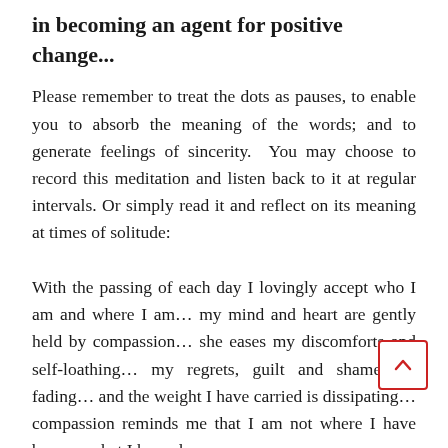in becoming an agent for positive change...
Please remember to treat the dots as pauses, to enable you to absorb the meaning of the words; and to generate feelings of sincerity.  You may choose to record this meditation and listen back to it at regular intervals. Or simply read it and reflect on its meaning at times of solitude:
With the passing of each day I lovingly accept who I am and where I am… my mind and heart are gently held by compassion… she eases my discomforts and self-loathing… my regrets, guilt and shame are fading… and the weight I have carried is dissipating… compassion reminds me that I am not where I have been or what I have done… my